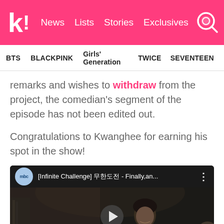k! News Lists Stories Exclusives
BTS   BLACKPINK   Girls' Generation   TWICE   SEVENTEEN
remarks and wishes to withdraw from the project, the comedian's segment of the episode has not been edited out.
Congratulations to Kwanghee for earning his spot in the show!
[Figure (screenshot): YouTube video thumbnail showing MBC channel logo, title '[Infinite Challenge] 무한도전 - Finally,an...' with a play button overlay and a person in a dark scene]